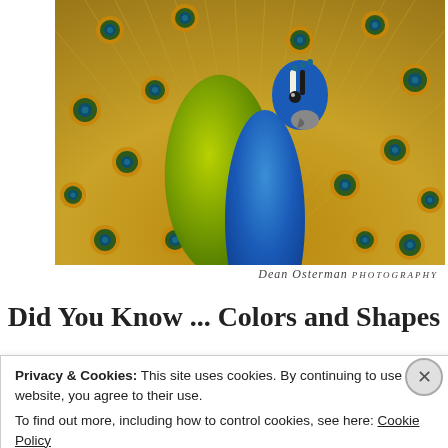[Figure (photo): Close-up photograph of a peacock displaying its full tail feathers spread in a fan. The peacock's blue-green iridescent body is prominent in the center, with the large golden tail feathers covered in eyespots (circular patterns of blue, green, and brown) radiating outward. A photographer's cursive signature appears in the lower right of the image.]
Dean Osterman Photography (cursive signature)
Did You Know ... Colors and Shapes
Privacy & Cookies: This site uses cookies. By continuing to use this website, you agree to their use.
To find out more, including how to control cookies, see here: Cookie Policy
Close and accept